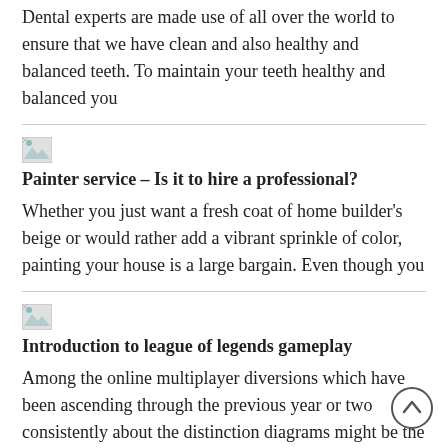How to find reliable dental office? Dental experts are made use of all over the world to ensure that we have clean and also healthy and balanced teeth. To maintain your teeth healthy and balanced you
[Figure (photo): Broken image placeholder thumbnail]
Painter service – Is it to hire a professional?
Whether you just want a fresh coat of home builder's beige or would rather add a vibrant sprinkle of color, painting your house is a large bargain. Even though you
[Figure (photo): Broken image placeholder thumbnail]
Introduction to league of legends gameplay
Among the online multiplayer diversions which have been ascending through the previous year or two consistently about the distinction diagrams might be the league of legends, it has seen a